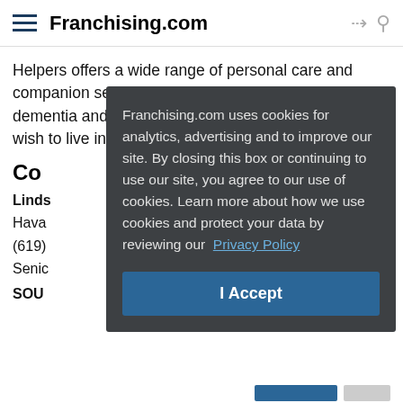Franchising.com
Helpers offers a wide range of personal care and companion services, including trained Alzheimer's, dementia and Parkinson's care, to assist seniors who wish to live independently. Learn more by visiting http:
Co
Linds
Hava
(619)
Senic
SOU
[Figure (screenshot): Cookie consent modal overlay on dark semi-transparent background. Text: 'Franchising.com uses cookies for analytics, advertising and to improve our site. By closing this box or continuing to use our site, you agree to our use of cookies. Learn more about how we use cookies and protect your data by reviewing our Privacy Policy'. Blue 'I Accept' button at the bottom.]